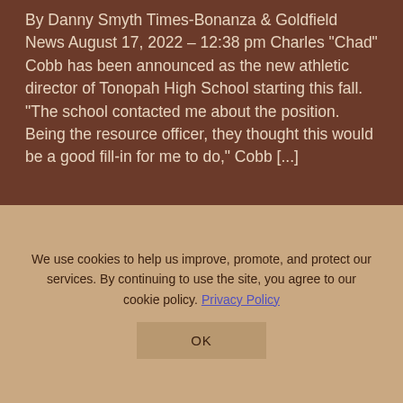By Danny Smyth Times-Bonanza & Goldfield News August 17, 2022 – 12:38 pm Charles "Chad" Cobb has been announced as the new athletic director of Tonopah High School starting this fall. "The school contacted me about the position. Being the resource officer, they thought this would be a good fill-in for me to do," Cobb [...]
[Figure (infographic): Weather widget showing TONOPAH with partly cloudy icon and temperature of 72 degrees]
We use cookies to help us improve, promote, and protect our services. By continuing to use the site, you agree to our cookie policy. Privacy Policy
OK